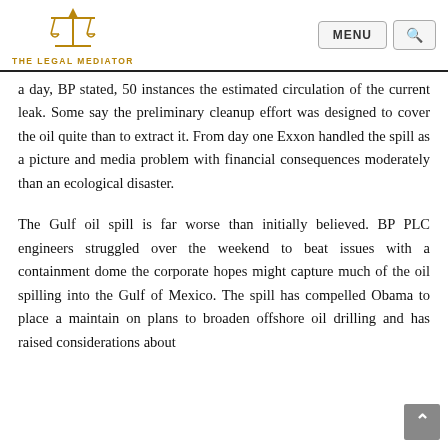THE LEGAL MEDIATOR | MENU | Search
a day, BP stated, 50 instances the estimated circulation of the current leak. Some say the preliminary cleanup effort was designed to cover the oil quite than to extract it. From day one Exxon handled the spill as a picture and media problem with financial consequences moderately than an ecological disaster.
The Gulf oil spill is far worse than initially believed. BP PLC engineers struggled over the weekend to beat issues with a containment dome the corporate hopes might capture much of the oil spilling into the Gulf of Mexico. The spill has compelled Obama to place a maintain on plans to broaden offshore oil drilling and has raised considerations about